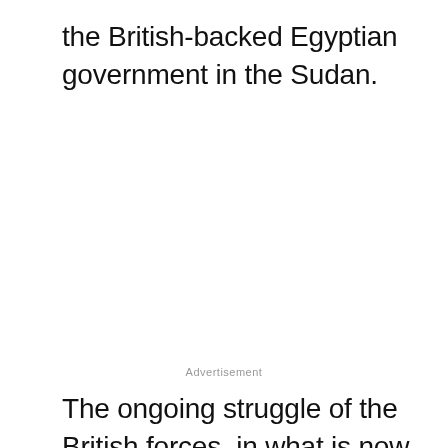the British-backed Egyptian government in the Sudan.
Advertisement
The ongoing struggle of the British forces, in what is now called the Mahdist War, led in early 1885 to the New South Wales colonial